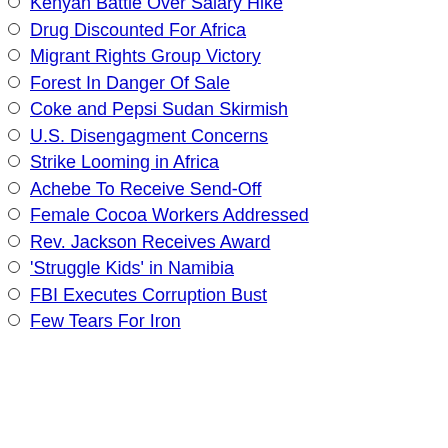Kenyan Battle Over Salary Hike
Drug Discounted For Africa
Migrant Rights Group Victory
Forest In Danger Of Sale
Coke and Pepsi Sudan Skirmish
U.S. Disengagment Concerns
Strike Looming in Africa
Achebe To Receive Send-Off
Female Cocoa Workers Addressed
Rev. Jackson Receives Award
'Struggle Kids' in Namibia
FBI Executes Corruption Bust
Few Tears For Iron